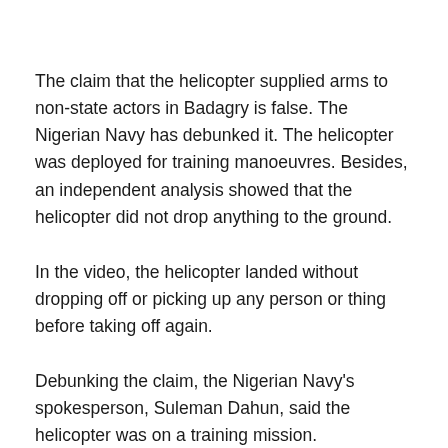The claim that the helicopter supplied arms to non-state actors in Badagry is false. The Nigerian Navy has debunked it. The helicopter was deployed for training manoeuvres. Besides, an independent analysis showed that the helicopter did not drop anything to the ground.
In the video, the helicopter landed without dropping off or picking up any person or thing before taking off again.
Debunking the claim, the Nigerian Navy's spokesperson, Suleman Dahun, said the helicopter was on a training mission.
Dahun refuted the claim that the helicopter landed in the bush in the Badagry area of Lagos State on Thursday, June 3 to supply arms to non-state actors. The video was shared on